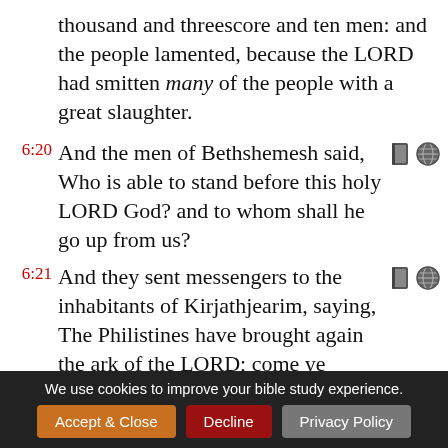thousand and threescore and ten men: and the people lamented, because the LORD had smitten many of the people with a great slaughter.
6:20 And the men of Bethshemesh said, Who is able to stand before this holy LORD God? and to whom shall he go up from us?
6:21 And they sent messengers to the inhabitants of Kirjathjearim, saying, The Philistines have brought again the ark of the LORD; come ye down, and fetch
We use cookies to improve your bible study experience.
Accept & Close
Decline
Privacy Policy